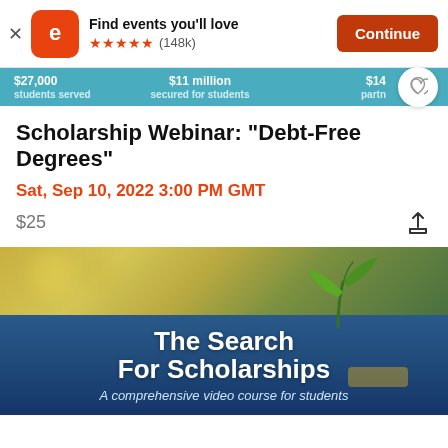[Figure (screenshot): Eventbrite app banner with logo, 'Find events you'll love', 5 orange stars, (148k) reviews, and orange Continue button]
[Figure (infographic): Teal stats bar showing students served, secured for students, and partner stats, with a heart button]
Scholarship Webinar: "Debt-Free Degrees"
Sat, Sep 10, 2022 3:00 PM GMT
$25
[Figure (photo): Image showing a green plant seedling growing from coins against a bokeh background, with text 'The Search For Scholarships' and subtitle 'A comprehensive video course for students']